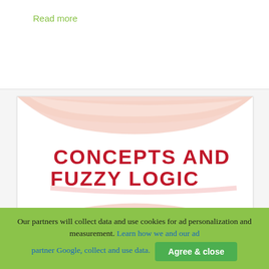Read more
[Figure (illustration): Book cover for 'Concepts and Fuzzy Logic' edited by Radim Belohlavek and George J. Klir. The cover features a red and pink swirling design on a white background with bold red text reading 'CONCEPTS AND FUZZY LOGIC' and smaller red text listing the editors.]
Our partners will collect data and use cookies for ad personalization and measurement. Learn how we and our ad partner Google, collect and use data. Agree & close